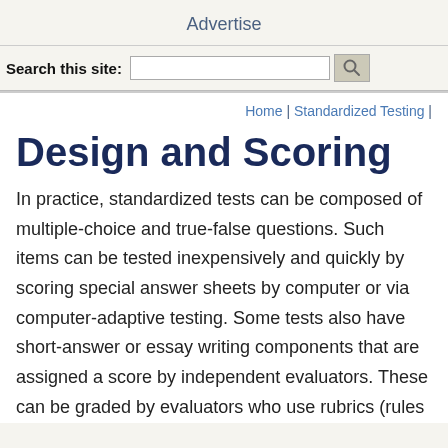Advertise
Search this site:
Home | Standardized Testing |
Design and Scoring
In practice, standardized tests can be composed of multiple-choice and true-false questions. Such items can be tested inexpensively and quickly by scoring special answer sheets by computer or via computer-adaptive testing. Some tests also have short-answer or essay writing components that are assigned a score by independent evaluators. These can be graded by evaluators who use rubrics (rules